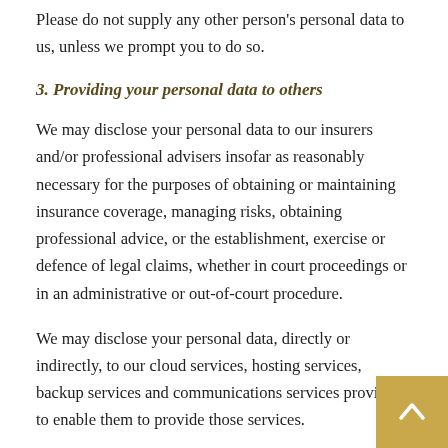Please do not supply any other person's personal data to us, unless we prompt you to do so.
3. Providing your personal data to others
We may disclose your personal data to our insurers and/or professional advisers insofar as reasonably necessary for the purposes of obtaining or maintaining insurance coverage, managing risks, obtaining professional advice, or the establishment, exercise or defence of legal claims, whether in court proceedings or in an administrative or out-of-court procedure.
We may disclose your personal data, directly or indirectly, to our cloud services, hosting services, backup services and communications services providers, to enable them to provide those services.
We may also disclose your personal data to the third